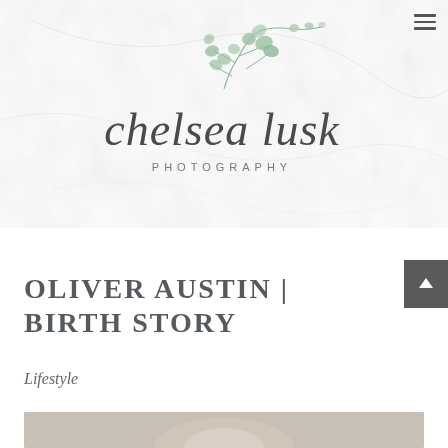[Figure (logo): Chelsea Lusk Photography logo with script text and eucalyptus leaf botanical illustration on marble/light grey textured background]
OLIVER AUSTIN | BIRTH STORY
Lifestyle
[Figure (photo): Partial view of a newborn baby photo at bottom of page]